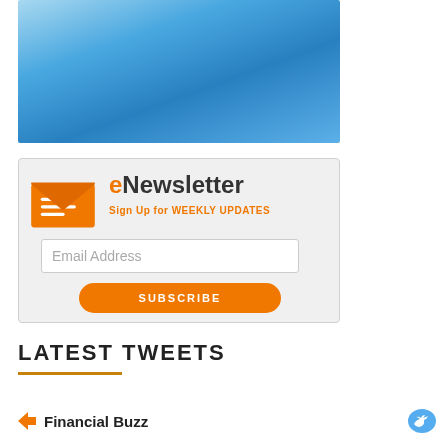[Figure (photo): Blue gradient background image, light to darker blue]
[Figure (infographic): eNewsletter signup widget with orange envelope icon, email input field, and orange Subscribe button. Text reads: eNewsletter, Sign Up for WEEKLY UPDATES, Email Address, SUBSCRIBE]
LATEST TWEETS
Financial Buzz